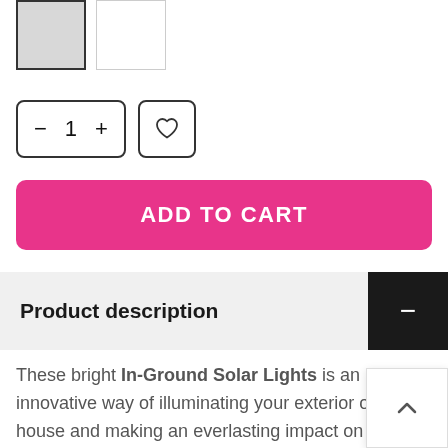[Figure (screenshot): Two product thumbnail images side by side: left thumbnail has a dark border and gray fill (selected), right thumbnail has a light border and white fill.]
[Figure (screenshot): Quantity selector showing minus button, '1', and plus button in a rounded rectangle border, plus a wishlist heart icon button.]
[Figure (screenshot): Pink/magenta 'ADD TO CART' button.]
Product description
These bright In-Ground Solar Lights is an innovative way of illuminating your exterior of the house and making an everlasting impact on t guests that come to visit. These durable and decorative outdoor lights are easy to install and